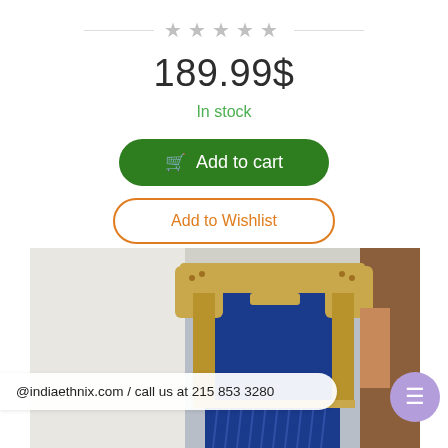★★★★★
189.99$
In stock
Add to cart
Add to Wishlist
[Figure (photo): Photo of a blue and gold Indian ethnic wear garment, showing the back/front of a salwar/blouse with golden embroidered trim and royal blue fabric.]
@indiaethnix.com / call us at 215 853 3280